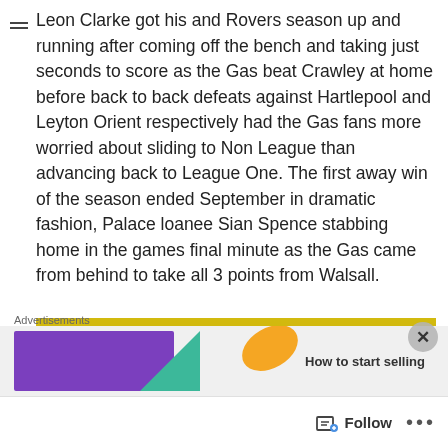Leon Clarke got his and Rovers season up and running after coming off the bench and taking just seconds to score as the Gas beat Crawley at home before back to back defeats against Hartlepool and Leyton Orient respectively had the Gas fans more worried about sliding to Non League than advancing back to League One. The first away win of the season ended September in dramatic fashion, Palace loanee Sian Spence stabbing home in the games final minute as the Gas came from behind to take all 3 points from Walsall.
[Figure (photo): A male footballer in a blue and white striped kit looking upward, photographed in front of a yellow advertising board background.]
Advertisements
[Figure (screenshot): Advertisement banner showing a purple rectangle with teal chevron and an orange leaf shape, with text 'How to start selling']
Follow ...